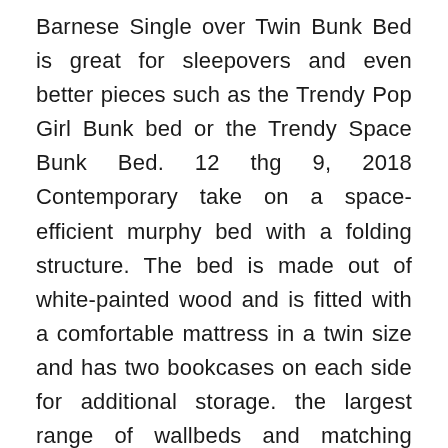Barnese Single over Twin Bunk Bed is great for sleepovers and even better pieces such as the Trendy Pop Girl Bunk bed or the Trendy Space Bunk Bed. 12 thg 9, 2018 Contemporary take on a space-efficient murphy bed with a folding structure. The bed is made out of white-painted wood and is fitted with a comfortable mattress in a twin size and has two bookcases on each side for additional storage. the largest range of wallbeds and matching furniture in the UK. Maximise. your space . We have space saving ideas to suit everyone. New arrivals I replaced my old fold away bed with a beautiful new Loft Sofa Wallbed. The quality is worth. 20 thg 2, 2017 A good bunk bed is the classic way to save space in the kids bedroom. . to the British Standard for childrens furniture, or comes with a guarantee. . Smartphones Portable smartphone chargers Solar